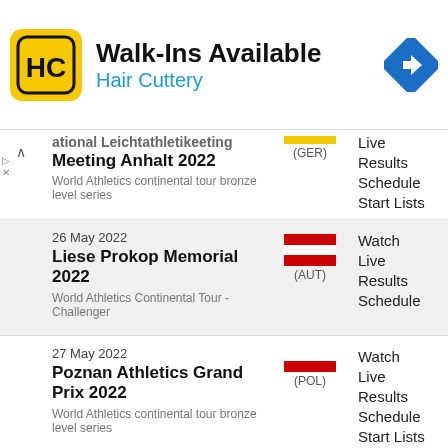[Figure (infographic): Hair Cuttery advertisement banner with logo and 'Walk-Ins Available' heading and navigation arrow icon]
National Leichtathletikeeting Meeting Anhalt 2022 (GER) - World Athletics continental tour bronze level series - Live, Results, Schedule, Start Lists
26 May 2022 - Liese Prokop Memorial 2022 (AUT) - World Athletics Continental Tour - Challenger - Watch, Live, Results, Schedule
27 May 2022 - Poznan Athletics Grand Prix 2022 (POL) - World Athletics continental tour bronze level series - Watch, Live, Results, Schedule, Start Lists
28 May 2022 - JML Levitate Invite (USA)